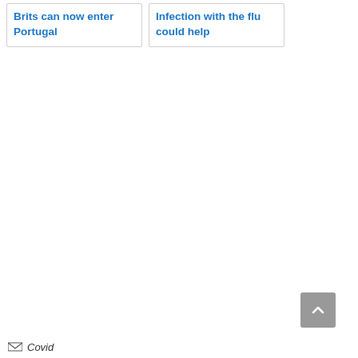Brits can now enter Portugal
Infection with the flu could help
[Figure (other): Scroll-to-top button, grey square with upward chevron arrow]
Covid